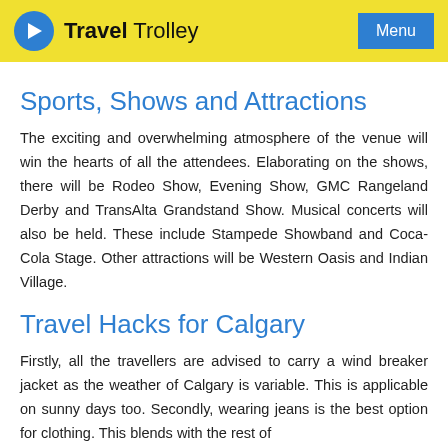Travel Trolley — Menu
Sports, Shows and Attractions
The exciting and overwhelming atmosphere of the venue will win the hearts of all the attendees. Elaborating on the shows, there will be Rodeo Show, Evening Show, GMC Rangeland Derby and TransAlta Grandstand Show. Musical concerts will also be held. These include Stampede Showband and Coca-Cola Stage. Other attractions will be Western Oasis and Indian Village.
Travel Hacks for Calgary
Firstly, all the travellers are advised to carry a wind breaker jacket as the weather of Calgary is variable. This is applicable on sunny days too. Secondly, wearing jeans is the best...